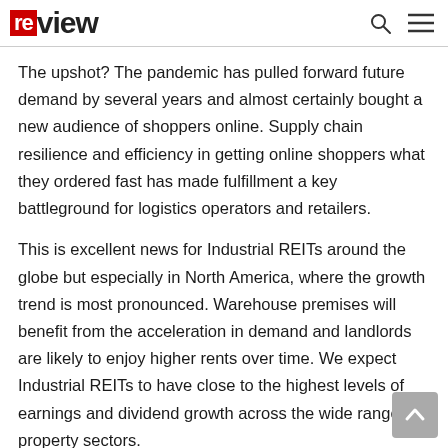review
The upshot? The pandemic has pulled forward future demand by several years and almost certainly bought a new audience of shoppers online. Supply chain resilience and efficiency in getting online shoppers what they ordered fast has made fulfillment a key battleground for logistics operators and retailers.
This is excellent news for Industrial REITs around the globe but especially in North America, where the growth trend is most pronounced. Warehouse premises will benefit from the acceleration in demand and landlords are likely to enjoy higher rents over time. We expect Industrial REITs to have close to the highest levels of earnings and dividend growth across the wide range of property sectors.